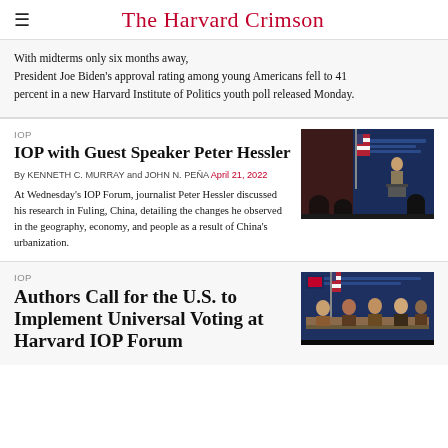The Harvard Crimson
With midterms only six months away, President Joe Biden's approval rating among young Americans fell to 41 percent in a new Harvard Institute of Politics youth poll released Monday.
IOP
IOP with Guest Speaker Peter Hessler
By KENNETH C. MURRAY and JOHN N. PEÑA April 21, 2022
At Wednesday's IOP Forum, journalist Peter Hessler discussed his research in Fuling, China, detailing the changes he observed in the geography, economy, and people as a result of China's urbanization.
[Figure (photo): Speaker at podium in front of blue Harvard Institute of Politics banner with American flag, audience seated]
IOP
Authors Call for the U.S. to Implement Universal Voting at Harvard IOP Forum
[Figure (photo): Panel of speakers seated at Harvard Institute of Politics forum with blue banner background]